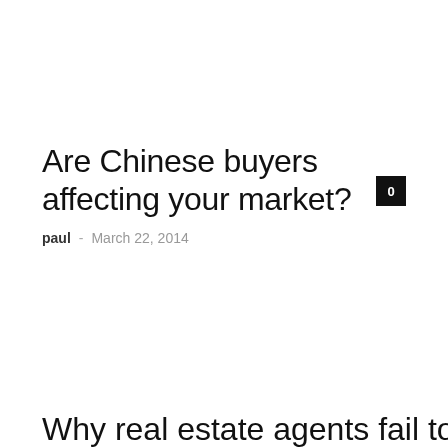Are Chinese buyers affecting your market?
paul · March 22, 2014
Why real estate agents fail to sell real estate